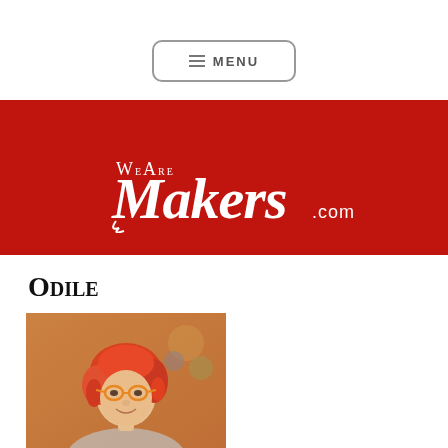≡ MENU
[Figure (logo): WeAreMakers.com logo — white script text on red background]
Odile
[Figure (photo): Photo of a woman with red/orange hair and orange glasses, smiling, with colorful artwork in the background]